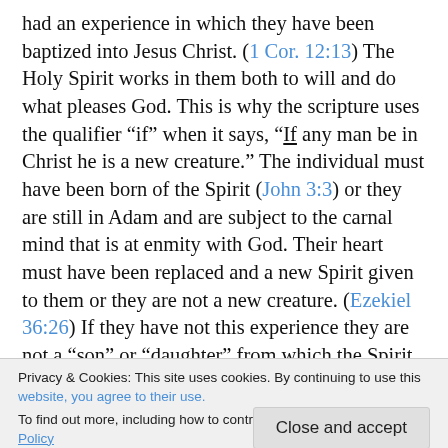had an experience in which they have been baptized into Jesus Christ. (1 Cor. 12:13) The Holy Spirit works in them both to will and do what pleases God. This is why the scripture uses the qualifier “if” when it says, “If any man be in Christ he is a new creature.” The individual must have been born of the Spirit (John 3:3) or they are still in Adam and are subject to the carnal mind that is at enmity with God. Their heart must have been replaced and a new Spirit given to them or they are not a new creature. (Ezekiel 36:26) If they have not this experience they are not a “son” or “daughter” from which the Spirit
Privacy & Cookies: This site uses cookies. By continuing to use this website, you agree to their use. To find out more, including how to control cookies, see here: Cookie Policy
demonstrate this transition from being ‘in’